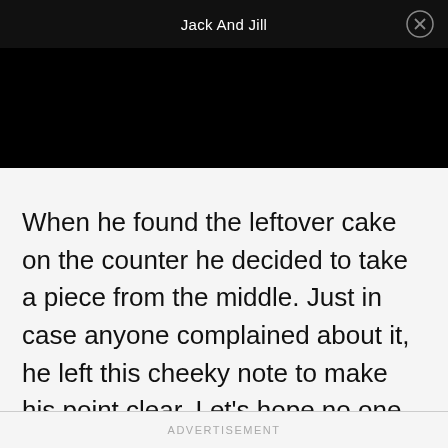Jack And Jill
When he found the leftover cake on the counter he decided to take a piece from the middle. Just in case anyone complained about it, he left this cheeky note to make his point clear. Let's hope no one recognizes his handwriting!
ADVERTISEMENT